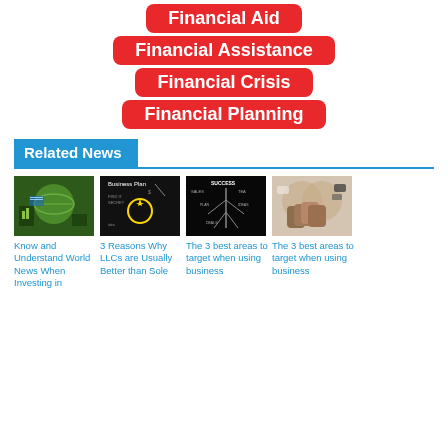Financial Aid
Financial Assistance
Financial Crisis
Financial Planning
Related News
[Figure (photo): Person pushing globe with financial charts]
Know and Understand World News When Investing in
[Figure (photo): Business plan chalkboard with lightbulb]
3 Reasons Why LLCs are Usually Better than Sole
[Figure (photo): Tree diagram with business success words]
The 3 best areas to target when using business
[Figure (photo): Hands stacked together in team collaboration]
The 3 best areas to target when using business